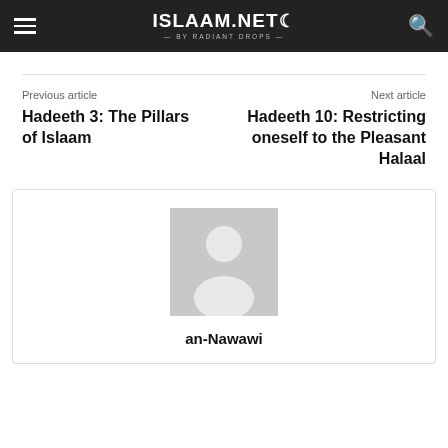ISLAAM.NET BY RADIANT DROPS
Previous article
Next article
Hadeeth 3: The Pillars of Islaam
Hadeeth 10: Restricting oneself to the Pleasant Halaal
[Figure (illustration): Generic user avatar placeholder — grey square with white silhouette of a person]
an-Nawawi